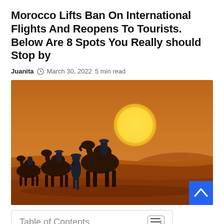Morocco Lifts Ban On International Flights And Reopens To Tourists. Below Are 8 Spots You Really should Stop by
Juanita  March 30, 2022  5 min read
[Figure (photo): A caravan of camels with riders crossing an orange desert landscape at sunset, with a large sun visible through hazy sky. A person on foot leads the camels from the front.]
Table of Contents